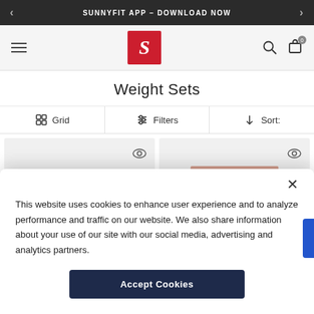SUNNYFIT APP – DOWNLOAD NOW
[Figure (logo): Sunny Health & Fitness logo - red square with white italic S]
Weight Sets
Grid   Filters   Sort:
[Figure (photo): Two fitness equipment product images - weight rack/squat stand products on light gray background]
This website uses cookies to enhance user experience and to analyze performance and traffic on our website. We also share information about your use of our site with our social media, advertising and analytics partners.
Accept Cookies